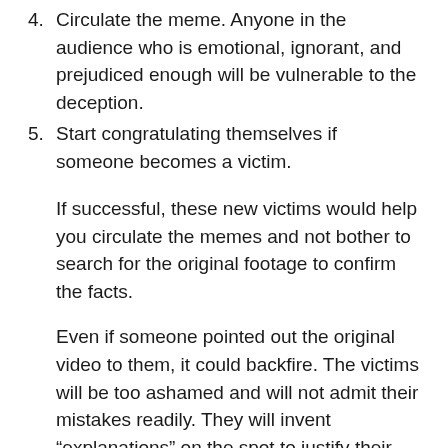4. Circulate the meme. Anyone in the audience who is emotional, ignorant, and prejudiced enough will be vulnerable to the deception.
5. Start congratulating themselves if someone becomes a victim.
If successful, these new victims would help you circulate the memes and not bother to search for the original footage to confirm the facts.
Even if someone pointed out the original video to them, it could backfire. The victims will be too ashamed and will not admit their mistakes readily. They will invent “explanations” on the spot to justify their part in circulating the false information; or switch to a different topic, pretending they never saw...